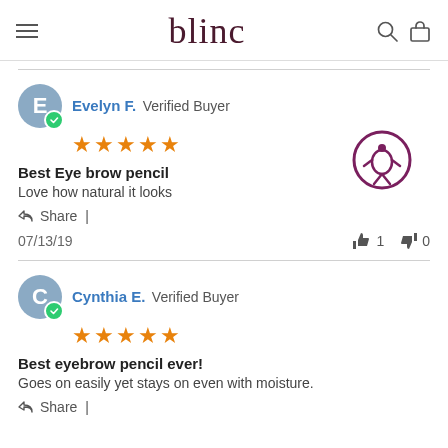blinc
Evelyn F. Verified Buyer — 5 stars — Best Eye brow pencil — Love how natural it looks — Share | 07/13/19 — thumbs up: 1, thumbs down: 0
Cynthia E. Verified Buyer — 5 stars — Best eyebrow pencil ever! — Goes on easily yet stays on even with moisture. — Share |